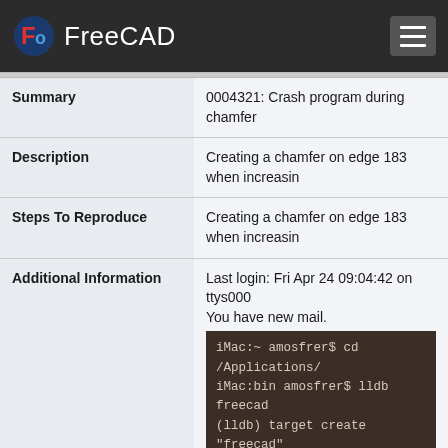FreeCAD
| Field | Value |
| --- | --- |
| Summary | 0004321: Crash program during chamfer |
| Description | Creating a chamfer on edge 183 when increasin |
| Steps To Reproduce | Creating a chamfer on edge 183 when increasin |
| Additional Information | Last login: Fri Apr 24 09:04:42 on ttys000
You have new mail.
[terminal output] |